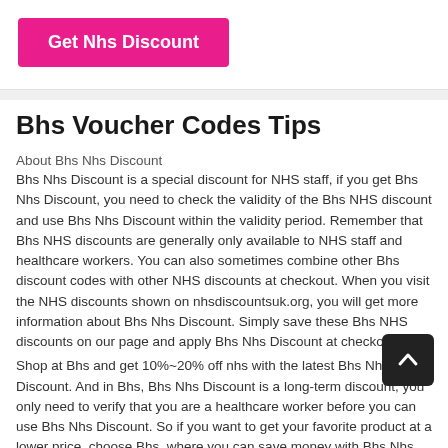[Figure (other): Pink 'Get Nhs Discount' button inside a white card area]
Bhs Voucher Codes Tips
About Bhs Nhs Discount
Bhs Nhs Discount is a special discount for NHS staff, if you get Bhs Nhs Discount, you need to check the validity of the Bhs NHS discount and use Bhs Nhs Discount within the validity period. Remember that Bhs NHS discounts are generally only available to NHS staff and healthcare workers. You can also sometimes combine other Bhs discount codes with other NHS discounts at checkout. When you visit the NHS discounts shown on nhsdiscountsuk.org, you will get more information about Bhs Nhs Discount. Simply save these Bhs NHS discounts on our page and apply Bhs Nhs Discount at checkout.
Shop at Bhs and get 10%~20% off nhs with the latest Bhs Nhs Discount. And in Bhs, Bhs Nhs Discount is a long-term discount, you only need to verify that you are a healthcare worker before you can use Bhs Nhs Discount. So if you want to get your favorite product at a lower price, choose Bhs, where you can save money with Bhs Nhs